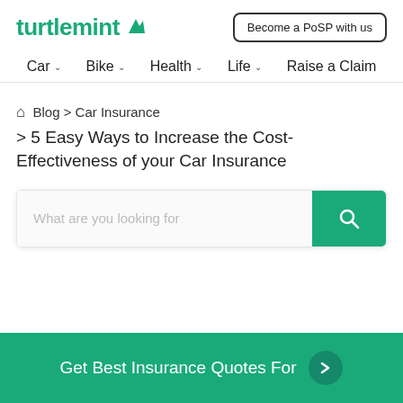turtlemint | Become a PoSP with us
Car | Bike | Health | Life | Raise a Claim
Blog > Car Insurance > 5 Easy Ways to Increase the Cost-Effectiveness of your Car Insurance
What are you looking for
Get Best Insurance Quotes For